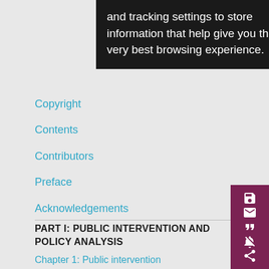and tracking settings to store information that help give you the very best browsing experience.
Copyright
Contents
Contributors
Preface
Acknowledgements
PART I: PUBLIC INTERVENTION AND POLICY ANALYSIS
Chapter 1: Public intervention